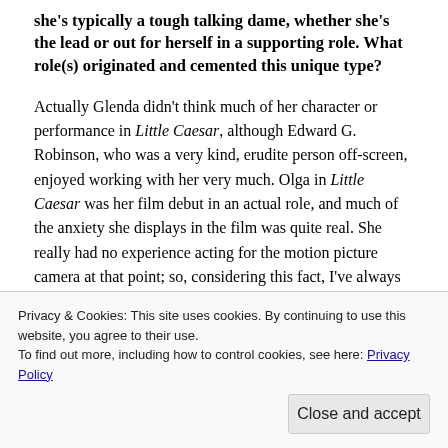she's typically a tough talking dame, whether she's the lead or out for herself in a supporting role. What role(s) originated and cemented this unique type?
Actually Glenda didn't think much of her character or performance in Little Caesar, although Edward G. Robinson, who was a very kind, erudite person off-screen, enjoyed working with her very much. Olga in Little Caesar was her film debut in an actual role, and much of the anxiety she displays in the film was quite real. She really had no experience acting for the motion picture camera at that point; so, considering this fact, I've always thought she did much better than she believed. It's not a great performance, but far better than many of her contemporaries who made
Privacy & Cookies: This site uses cookies. By continuing to use this website, you agree to their use.
To find out more, including how to control cookies, see here: Privacy Policy